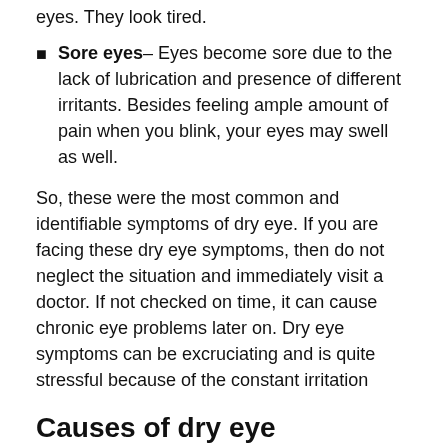eyes. They look tired.
Sore eyes– Eyes become sore due to the lack of lubrication and presence of different irritants. Besides feeling ample amount of pain when you blink, your eyes may swell as well.
So, these were the most common and identifiable symptoms of dry eye. If you are facing these dry eye symptoms, then do not neglect the situation and immediately visit a doctor. If not checked on time, it can cause chronic eye problems later on. Dry eye symptoms can be excruciating and is quite stressful because of the constant irritation
Causes of dry eye symptoms
You might be wondering that why do our eyes lose their ability to lubricate its surface. This can be because of